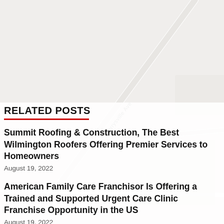[Figure (map): Google Maps style street map showing Perrysville Ave and surrounding area with Community Church marker and Preschool location pin]
RELATED POSTS
Summit Roofing & Construction, The Best Wilmington Roofers Offering Premier Services to Homeowners
August 19, 2022
American Family Care Franchisor Is Offering a Trained and Supported Urgent Care Clinic Franchise Opportunity in the US
August 19, 2022